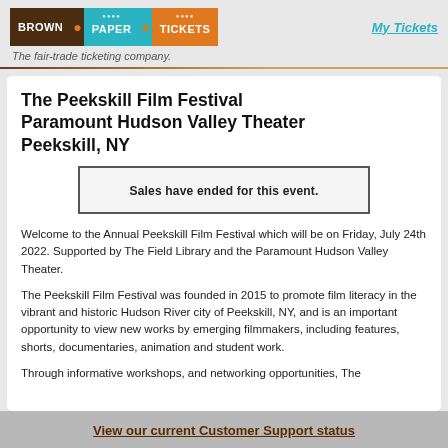[Figure (logo): Brown Paper Tickets logo with three colored blocks: dark brown (BROWN), teal (PAPER), orange (TICKETS)]
My Tickets
The fair-trade ticketing company.
The Peekskill Film Festival Paramount Hudson Valley Theater Peekskill, NY
Sales have ended for this event.
Welcome to the Annual Peekskill Film Festival which will be on Friday, July 24th 2022. Supported by The Field Library and the Paramount Hudson Valley Theater.
The Peekskill Film Festival was founded in 2015 to promote film literacy in the vibrant and historic Hudson River city of Peekskill, NY, and is an important opportunity to view new works by emerging filmmakers, including features, shorts, documentaries, animation and student work.
Through informative workshops, and networking opportunities, The
View our current Customer Support status